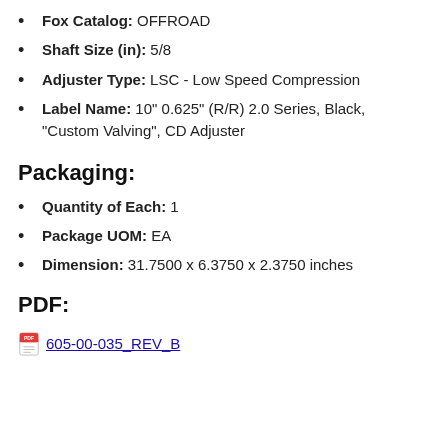Fox Catalog: OFFROAD
Shaft Size (in): 5/8
Adjuster Type: LSC - Low Speed Compression
Label Name: 10" 0.625" (R/R) 2.0 Series, Black, "Custom Valving", CD Adjuster
Packaging:
Quantity of Each: 1
Package UOM: EA
Dimension: 31.7500 x 6.3750 x 2.3750 inches
PDF:
605-00-035_REV_B